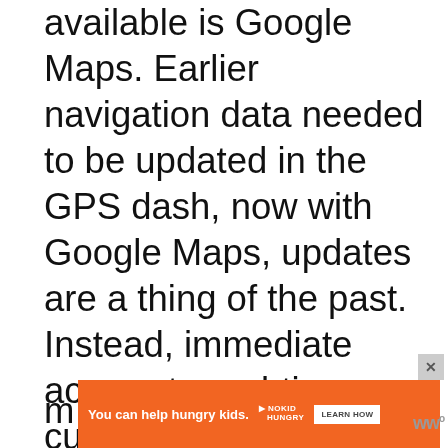available is Google Maps. Earlier navigation data needed to be updated in the GPS dash, now with Google Maps, updates are a thing of the past. Instead, immediate access to real-time current maps will be displayed as soon as the car hits the road.

While driving down the road Kenwood's DDX9705 radio can connect with Spotify's playlist which m...s,
[Figure (infographic): Orange advertisement banner reading 'You can help hungry kids.' with No Kid Hungry logo and a 'LEARN HOW' button. An X close button is shown. Partially overlaps the main text at the bottom of the page.]